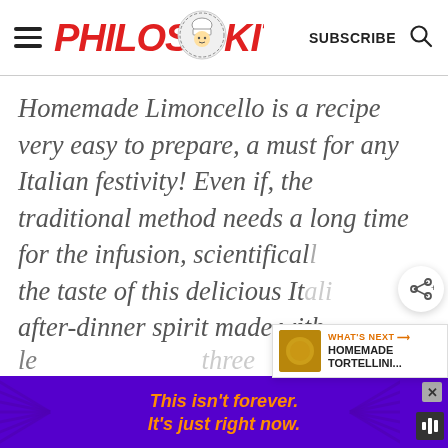PHILOS KITCHEN — SUBSCRIBE
Homemade Limoncello is a recipe very easy to prepare, a must for any Italian festivity! Even if, the traditional method needs a long time for the infusion, scientifically the taste of this delicious Italian after-dinner spirit made with lemon peel…three
[Figure (infographic): Purple advertisement banner at bottom reading: This isn't forever. It's just right now.]